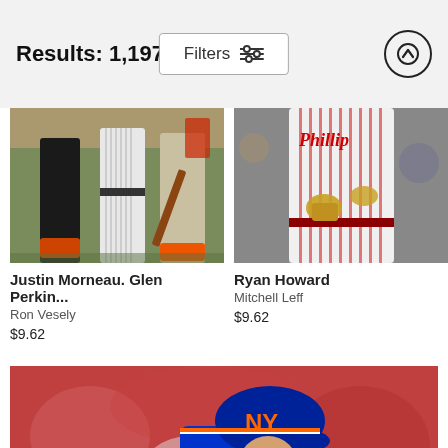Results: 1,197
Filters
[Figure (photo): Baseball players legs and feet on field, one holding a bat. Justin Morneau and Glen Perkins photo.]
Justin Morneau. Glen Perkin...
Ron Vesely
$9.62
[Figure (photo): Philadelphia Phillies player Ryan Howard in pinstripe uniform holding bat at plate.]
Ryan Howard
Mitchell Leff
$9.62
[Figure (photo): New York Mets pitcher in blue uniform mid wind-up holding baseball, crowd in background.]